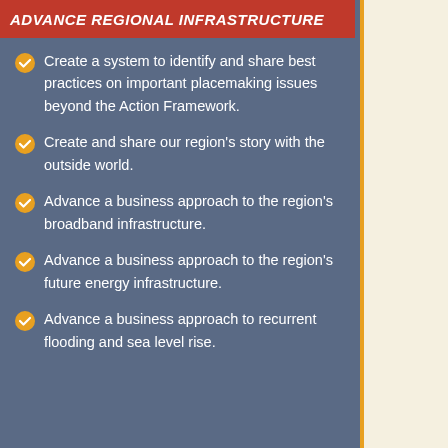ADVANCE REGIONAL INFRASTRUCTURE
Create a system to identify and share best practices on important placemaking issues beyond the Action Framework.
Create and share our region's story with the outside world.
Advance a business approach to the region's broadband infrastructure.
Advance a business approach to the region's future energy infrastructure.
Advance a business approach to recurrent flooding and sea level rise.